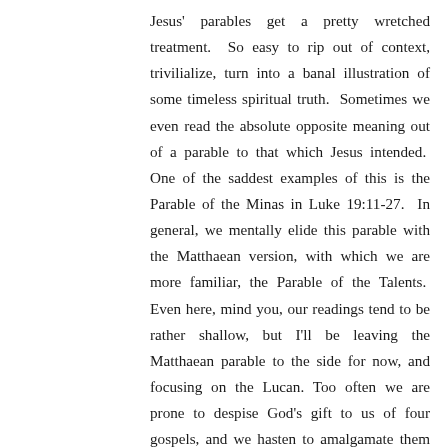Jesus' parables get a pretty wretched treatment. So easy to rip out of context, trivilialize, turn into a banal illustration of some timeless spiritual truth. Sometimes we even read the absolute opposite meaning out of a parable to that which Jesus intended. One of the saddest examples of this is the Parable of the Minas in Luke 19:11-27. In general, we mentally elide this parable with the Matthaean version, with which we are more familiar, the Parable of the Talents. Even here, mind you, our readings tend to be rather shallow, but I'll be leaving the Matthaean parable to the side for now, and focusing on the Lucan. Too often we are prone to despise God's gift to us of four gospels, and we hasten to amalgamate them into one, instead of attending carefully to the different accounts they give us and different lessons they teach us, often using the same basic story in very different